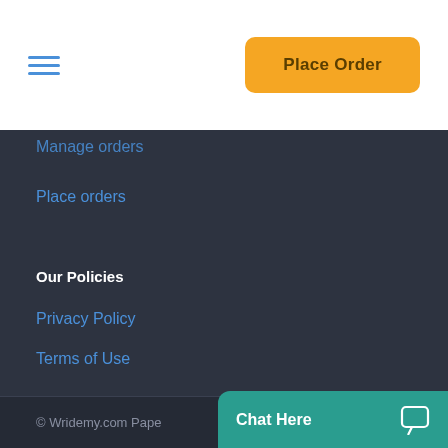Place Order
Manage orders
Place orders
Our Policies
Privacy Policy
Terms of Use
© Wridemy.com Pape
Chat Here